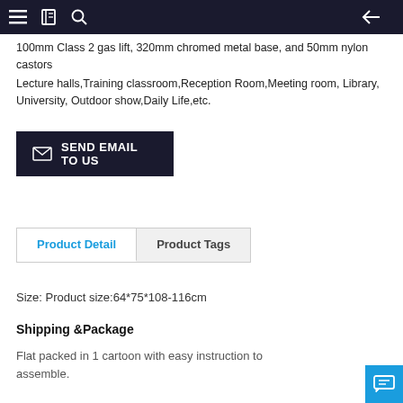Navigation bar with menu, book, search icons and back arrow
100mm Class 2 gas lift, 320mm chromed metal base, and 50mm nylon castors
Lecture halls,Training classroom,Reception Room,Meeting room, Library, University, Outdoor show,Daily Life,etc.
SEND EMAIL TO US
Product Detail  Product Tags
Size: Product size:64*75*108-116cm
Shipping &Package
Flat packed in 1 cartoon with easy instruction to assemble.